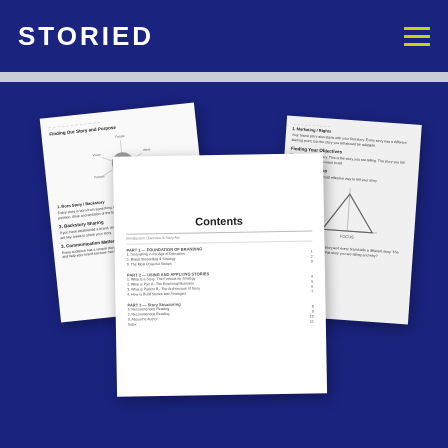STORIED
[Figure (photo): Promotional image showing multiple open document/book pages fanned out against a dark navy blue background. The documents appear to be a branded guide or workbook. One page shows a circle/mind-map diagram, another shows a table of contents titled 'Contents', and another shows text and a funnel/triangle diagram.]